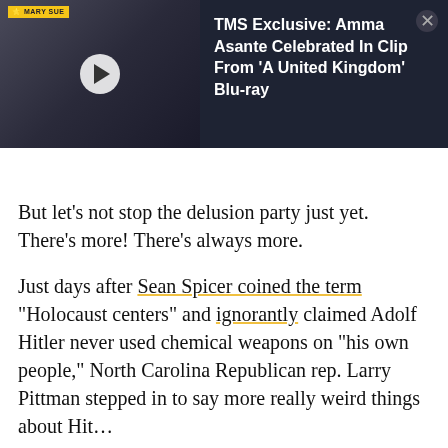[Figure (screenshot): Video thumbnail with The Mary Sue logo showing a person in white dress, with play button overlay, and dark sidebar showing article title text]
TMS Exclusive: Amma Asante Celebrated In Clip From 'A United Kingdom' Blu-ray
But let’s not stop the delusion party just yet. There’s more! There’s always more.
Just days after Sean Spicer coined the term “Holocaust centers” and ignorantly claimed Adolf Hitler never used chemical weapons on “his own people,” North Carolina Republican rep. Larry Pittman stepped in to say more really weird things about Hit…